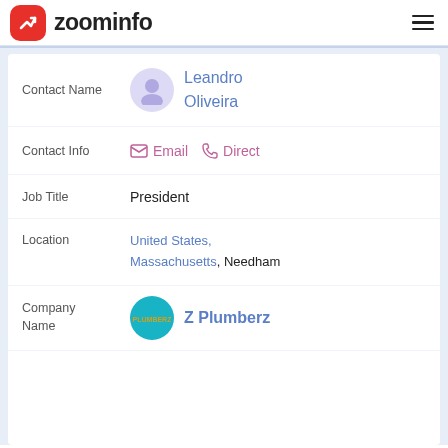zoominfo
Contact Name: Leandro Oliveira
Contact Info: Email | Direct
Job Title: President
Location: United States, Massachusetts, Needham
Company Name: Z Plumberz